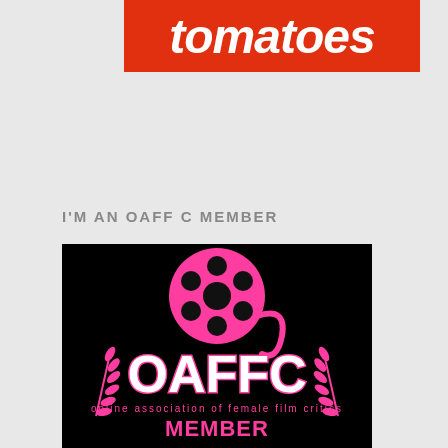[Figure (logo): Rotten Tomatoes logo — red banner with white italic bold text reading 'tomatoes']
I'M AN OAFF C MEMBER
[Figure (logo): OAFFC (Online Association of Female Film Critics) member badge — black background with pink film reel graphic, pink laurel branches, large white 'OAFFC' text with pink outline, pink text 'online association of female film critics', and bold pink 'MEMBER' text at bottom]